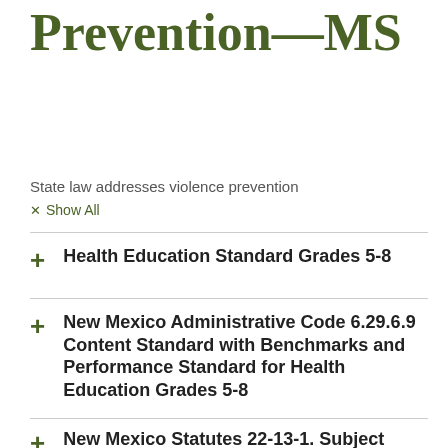Curriculum — Violence Prevention—MS
State law addresses violence prevention
Show All
Health Education Standard Grades 5-8
New Mexico Administrative Code 6.29.6.9 Content Standard with Benchmarks and Performance Standard for Health Education Grades 5-8
New Mexico Statutes 22-13-1. Subject areas: minimum instructional areas required: